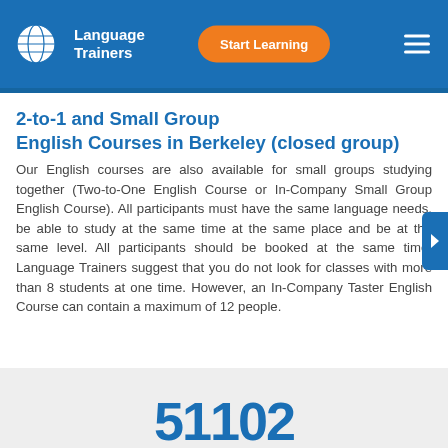Language Trainers | Start Learning
2-to-1 and Small Group English Courses in Berkeley (closed group)
Our English courses are also available for small groups studying together (Two-to-One English Course or In-Company Small Group English Course). All participants must have the same language needs, be able to study at the same time at the same place and be at the same level. All participants should be booked at the same time. Language Trainers suggest that you do not look for classes with more than 8 students at one time. However, an In-Company Taster English Course can contain a maximum of 12 people.